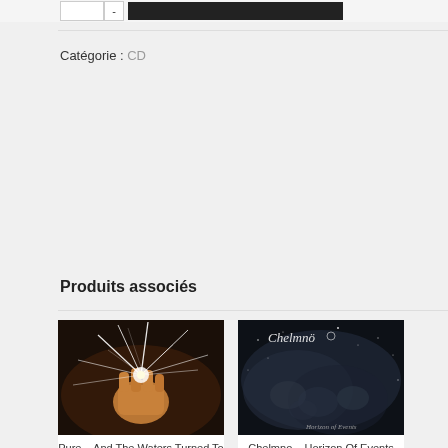Catégorie : CD
Produits associés
[Figure (photo): Album cover for Pure – And The Waters Turned To Blood: a fist punching through shattered glass on a dark background]
Pure – And The Waters Turned To Blood
[Figure (photo): Album cover for Chelmno – Horizon Of Events: dark misty cosmic background with Chelmno logo at top and text 'Horizon of Events' at bottom right]
Chelmno – Horizon Of Events